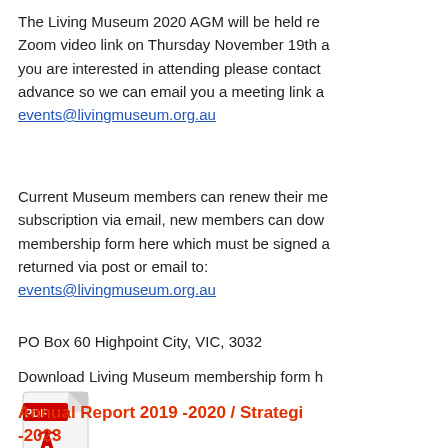The Living Museum 2020 AGM will be held remotely via Zoom video link on Thursday November 19th at ... If you are interested in attending please contact us in advance so we can email you a meeting link and agenda: events@livingmuseum.org.au
Current Museum members can renew their membership subscription via email, new members can download a membership form here which must be signed and returned via post or email to: events@livingmuseum.org.au
PO Box 60 Highpoint City, VIC, 3032
Download Living Museum membership form h...
[Figure (other): PDF icon representing a downloadable PDF document]
Annual Report 2019 -2020 / Strategic... -2023